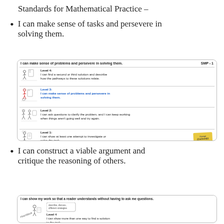Standards for Mathematical Practice –
I can make sense of tasks and persevere in solving them.
[Figure (infographic): SMP-1 rubric card showing 4 proficiency levels for 'I can make sense of problems and persevere in solving them.' Level 4: I can find a second or third solution and describe how the pathways to these solutions relate. Level 3 (highlighted in blue): I can make sense of problems and persevere in solving them. Level 2: I can ask questions to clarify the problem, and I can keep working when things aren't going well and try again. Level 1: I can show at least one attempt to investigate or solve the task. Includes stick figure illustrations and a yellow sticker.]
I can construct a viable argument and critique the reasoning of others.
[Figure (infographic): Rubric card showing 'I can show my work so that a reader understands without having to ask me questions.' Level 4: I can show more than one way to find a solution to the task. Includes stick figure with homework illustration and speech bubble with 'describe, discuss, different strategies'.]